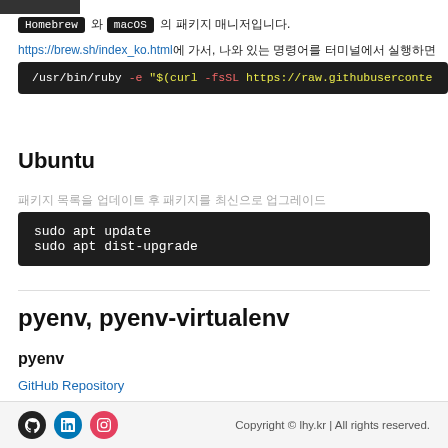Homebrew 와 macOS 의 패키지 매니저입니다.
https://brew.sh/index_ko.html에 가서, 나와 있는 명령어를 터미널에서 실행하면 됩니다.
/usr/bin/ruby -e "$(curl -fsSL https://raw.githubusercontent...
Ubuntu
패키지 목록을 업데이트 후 패키지를 최신으로 업그레이드
sudo apt update
sudo apt dist-upgrade
pyenv, pyenv-virtualenv
pyenv
GitHub Repository
Copyright © lhy.kr | All rights reserved.